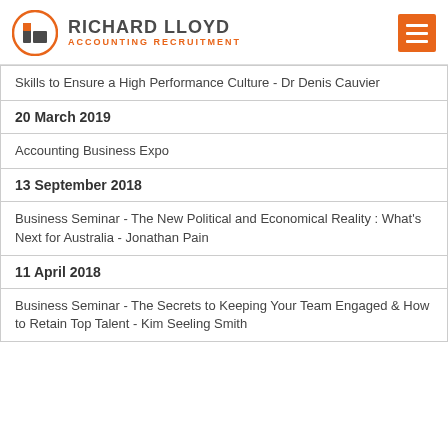RICHARD LLOYD ACCOUNTING RECRUITMENT
Skills to Ensure a High Performance Culture - Dr Denis Cauvier
20 March 2019
Accounting Business Expo
13 September 2018
Business Seminar - The New Political and Economical Reality : What's Next for Australia - Jonathan Pain
11 April 2018
Business Seminar - The Secrets to Keeping Your Team Engaged & How to Retain Top Talent - Kim Seeling Smith